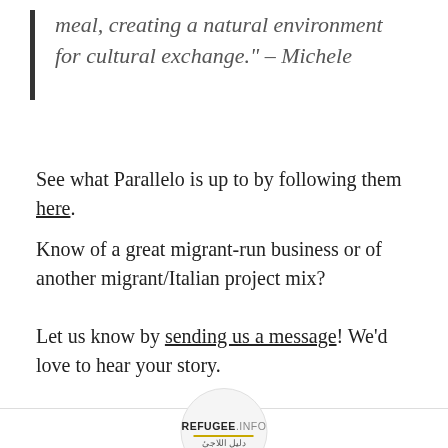meal, creating a natural environment for cultural exchange." – Michele
See what Parallelo is up to by following them here.
Know of a great migrant-run business or of another migrant/Italian project mix?
Let us know by sending us a message! We'd love to hear your story.
[Figure (logo): Refugee.Info circular logo with Arabic text دليل اللاجئ]
Refugee.Info
Read more posts by this author.